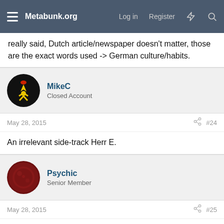Metabunk.org | Log in | Register
really said, Dutch article/newspaper doesn't matter, those are the exact words used -> German culture/habits.
MikeC
Closed Account
May 28, 2015 #24
An irrelevant side-track Herr E.
Psychic
Senior Member
May 28, 2015 #25
Robert E said:
Yes? And?